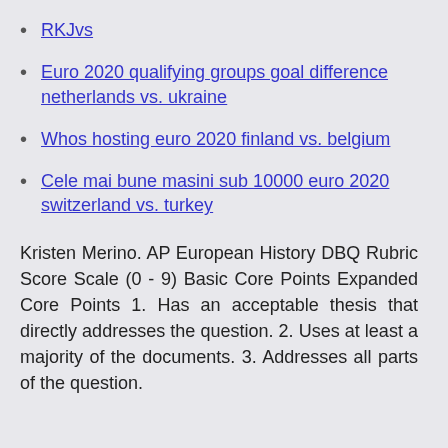RKJvs
Euro 2020 qualifying groups goal difference netherlands vs. ukraine
Whos hosting euro 2020 finland vs. belgium
Cele mai bune masini sub 10000 euro 2020 switzerland vs. turkey
Kristen Merino. AP European History DBQ Rubric Score Scale (0 - 9) Basic Core Points Expanded Core Points 1. Has an acceptable thesis that directly addresses the question. 2. Uses at least a majority of the documents. 3. Addresses all parts of the question.